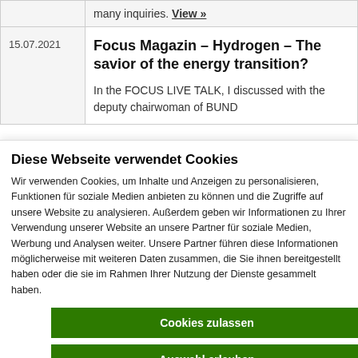many inquiries. View »
| Date | Content |
| --- | --- |
| 15.07.2021 | Focus Magazin – Hydrogen – The savior of the energy transition?

In the FOCUS LIVE TALK, I discussed with the deputy chairwoman of BUND |
Diese Webseite verwendet Cookies
Wir verwenden Cookies, um Inhalte und Anzeigen zu personalisieren, Funktionen für soziale Medien anbieten zu können und die Zugriffe auf unsere Website zu analysieren. Außerdem geben wir Informationen zu Ihrer Verwendung unserer Website an unsere Partner für soziale Medien, Werbung und Analysen weiter. Unsere Partner führen diese Informationen möglicherweise mit weiteren Daten zusammen, die Sie ihnen bereitgestellt haben oder die sie im Rahmen Ihrer Nutzung der Dienste gesammelt haben.
Cookies zulassen
Auswahl erlauben
Nur notwendige Cookies verwenden
Notwendig  Präferenzen  Statistiken  Marketing  Details zeigen